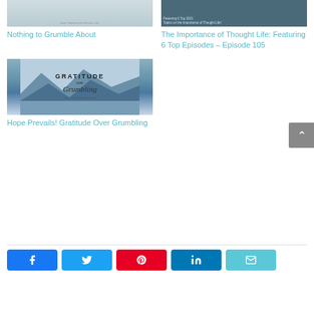[Figure (photo): Top left article thumbnail - muted gray/blue image]
Nothing to Grumble About
[Figure (photo): Top right article thumbnail - dark image with text about thought life podcast]
The Importance of Thought Life: Featuring 6 Top Episodes – Episode 105
[Figure (photo): Gratitude over Grumbling - mountain lake scene with text overlay]
Hope Prevails! Gratitude Over Grumbling
[Figure (infographic): Social sharing buttons: Facebook, Twitter, Pinterest, LinkedIn, Email]